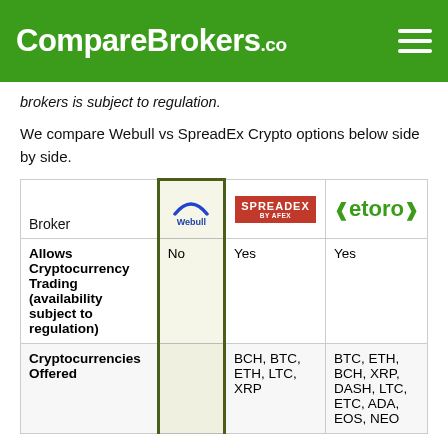CompareBrokers.co
brokers is subject to regulation.
We compare Webull vs SpreadEx Crypto options below side by side.
| Broker | Webull | SpreadEx | eToro |
| --- | --- | --- | --- |
| Allows Cryptocurrency Trading (availability subject to regulation) | No | Yes | Yes |
| Cryptocurrencies Offered |  | BCH, BTC, ETH, LTC, XRP | BTC, ETH, BCH, XRP, DASH, LTC, ETC, ADA, EOS, NEO |